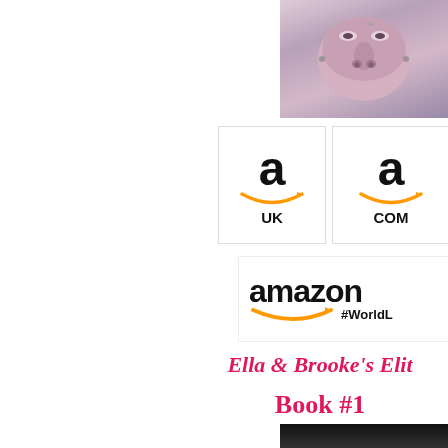[Figure (photo): Upside-down close-up photo of a person's face, styled in muted purple/pink tones]
[Figure (logo): Amazon UK logo with large lowercase 'a' and smile arrow, with 'UK' text below]
[Figure (logo): Amazon COM logo with large lowercase 'a' and smile arrow, with 'COM' text below]
[Figure (logo): Amazon logo with 'amazon' text, smile arrow, and '#WorldL...' hashtag text]
Ella & Brooke's Elit
Book #1
[Figure (photo): Dark/black partial photo at bottom edge, cropped]